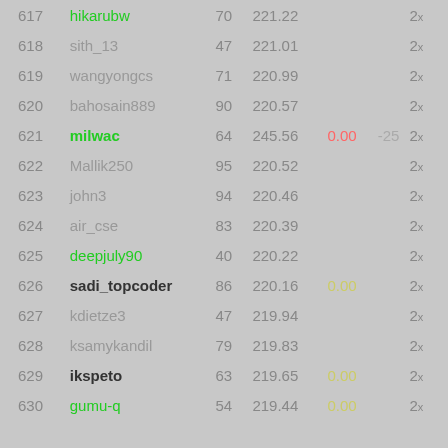| Rank | Name | Col3 | Score | Round | Delta | Col7 |
| --- | --- | --- | --- | --- | --- | --- |
| 617 | hikarubw | 70 | 221.22 |  |  | 2x |
| 618 | sith_13 | 47 | 221.01 |  |  | 2x |
| 619 | wangyongcs | 71 | 220.99 |  |  | 2x |
| 620 | bahosain889 | 90 | 220.57 |  |  | 2x |
| 621 | milwac | 64 | 245.56 | 0.00 | -25 | 2x |
| 622 | Mallik250 | 95 | 220.52 |  |  | 2x |
| 623 | john3 | 94 | 220.46 |  |  | 2x |
| 624 | air_cse | 83 | 220.39 |  |  | 2x |
| 625 | deepjuly90 | 40 | 220.22 |  |  | 2x |
| 626 | sadi_topcoder | 86 | 220.16 | 0.00 |  | 2x |
| 627 | kdietze3 | 47 | 219.94 |  |  | 2x |
| 628 | ksamykandil | 79 | 219.83 |  |  | 2x |
| 629 | ikspeto | 63 | 219.65 | 0.00 |  | 2x |
| 630 | gumu-q | 54 | 219.44 | 0.00 |  | 2x |